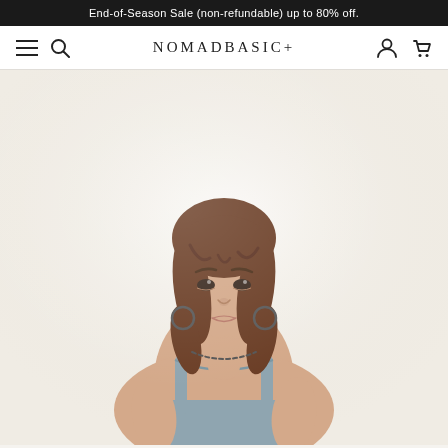End-of-Season Sale (non-refundable) up to 80% off.
NOMADBASIC+
[Figure (photo): Fashion e-commerce product page screenshot showing NOMADBASIC+ brand. A young woman with shoulder-length wavy brown hair and curtain bangs is wearing a grey/blue sleeveless halter-style tank top. She has hoop earrings and a chain necklace. The background is a very light cream/off-white. The top portion shows a black announcement banner and white navigation bar with hamburger menu, search, account, and cart icons.]